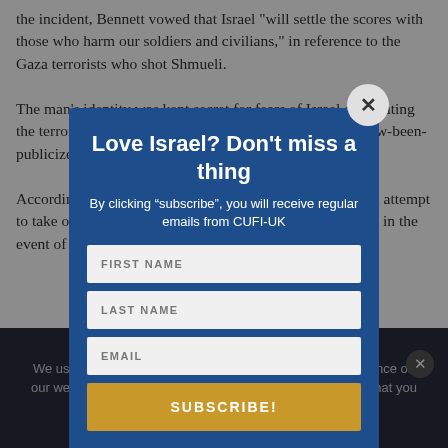the incident, Bennett vowed that Israel 'will settle the scores with those who harm our soldiers and civilians,' in reference to the Gaza terrorists who shot Shmueli.
The man's identity was kept secret for fears of Israel eliminating the terrorist with the gunpants-who-is-this-identity-has-now-been-publicized, says i24 News.
According to the reporting, Hamas believes that Israel will attempt to take out Shmueli's killer not during a period of calm but in the event of another military conflict with the Gaza Strip.
We use cookies to ensure that we give you the best experience on our website. If you continue to use this site we will assume that you are happy with it.
Love Israel? Don't miss a thing
By clicking “subscribe”, you will receive regular emails from CUFI-UK
FIRST NAME
LAST NAME
EMAIL
SUBSCRIBE!